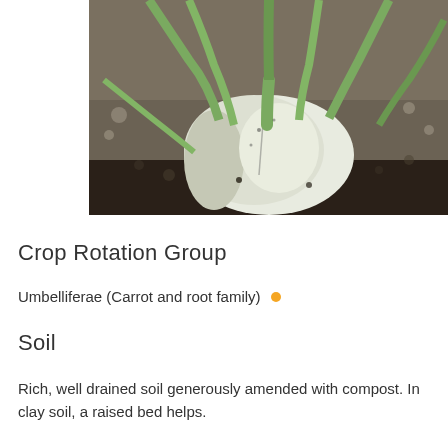[Figure (photo): Close-up photograph of a fennel bulb growing in dark soil, showing white bulbous base with green celery-like stalks spreading outward]
Crop Rotation Group
Umbelliferae (Carrot and root family) •
Soil
Rich, well drained soil generously amended with compost. In clay soil, a raise bed helps.